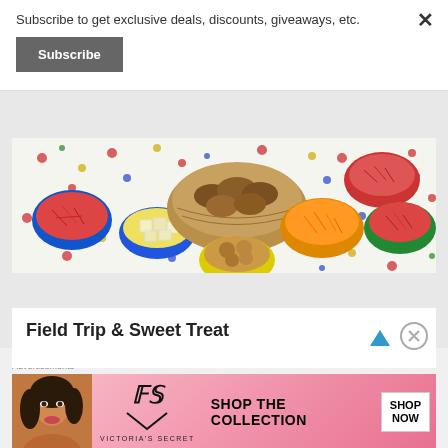Subscribe to get exclusive deals, discounts, giveaways, etc.
Subscribe
[Figure (photo): Overhead view of snacks and appetizers in colorful bowls on a polka-dot tablecloth, including red pepper strips, cheese cubes, croissants in a basket, carrot sticks, and cookies]
Field Trip & Sweet Treat
Advertisements
[Figure (photo): Victoria's Secret advertisement banner with a woman model, the VS logo, text 'SHOP THE COLLECTION' and a 'SHOP NOW' call-to-action button on a pink gradient background]